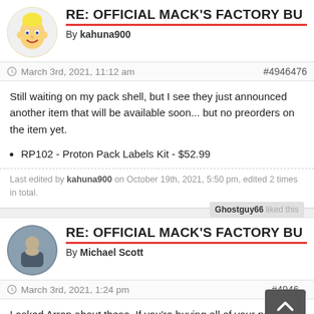RE: OFFICIAL MACK'S FACTORY BU
By kahuna900
- March 3rd, 2021, 11:12 am  #4946476
Still waiting on my pack shell, but I see they just announced another item that will be available soon... but no preorders on the item yet.
RP102 - Proton Pack Labels Kit - $52.99
Last edited by kahuna900 on October 19th, 2021, 5:50 pm, edited 2 times in total.
Ghostguy66 liked this
RE: OFFICIAL MACK'S FACTORY BU
By Michael Scott
- March 3rd, 2021, 1:24 pm  #4946...
I asked Arron about these. If you're buying all of your parts